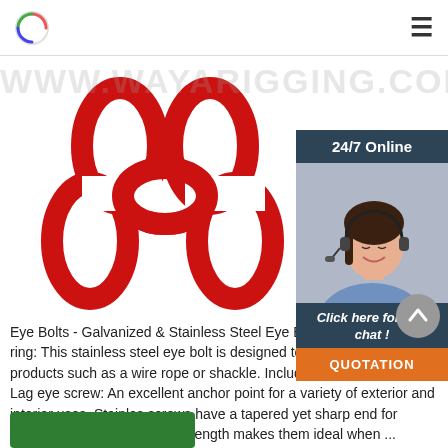www.wayarigging.com
[Figure (photo): Red chain links - product photo for Eye Bolts page]
[Figure (photo): 24/7 Online chat widget with female customer service representative wearing headset. Dark blue header saying '24/7 Online', orange QUOTATION button, italic text 'Click here for free chat!']
Eye Bolts - Galvanized & Stainless Steel Eye Bolts. Eye bolt with ring: This stainless steel eye bolt is designed to receive rigging products such as a wire rope or shackle. Includes a nut and washer. Lag eye screw: An excellent anchor point for a variety of exterior and interior uses. Stainless screws have a tapered yet sharp end for screwing into wood. A longer length makes them ideal when ...